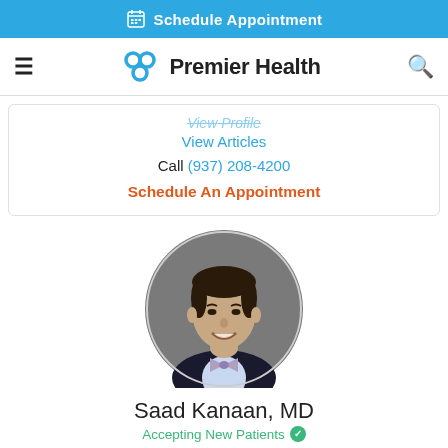Schedule Appointment
[Figure (logo): Premier Health logo with navigation bar including hamburger menu and search icon]
View Profile
View Articles
Call (937) 208-4200
Schedule An Appointment
[Figure (photo): Circular headshot photo of Dr. Saad Kanaan, MD, a male physician in a suit and bow tie, smiling, against a gray background]
Saad Kanaan, MD
Accepting New Patients